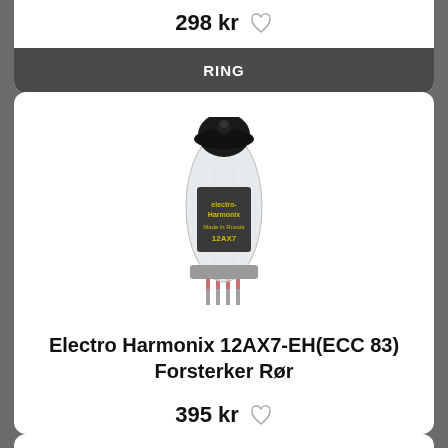298 kr
RING
[Figure (photo): Photo of an Electro-Harmonix 12AX7-EH vacuum tube with black top, gold label, and red pins, Made in Russia]
Electro Harmonix 12AX7-EH(ECC 83) Forsterker Rør
395 kr
RING